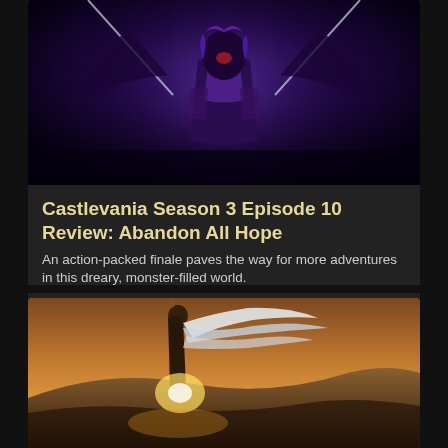[Figure (screenshot): Anime screenshot from Castlevania showing a dark villain character with purple hair and dark armor spreading arms wide against a dark purple/black background]
Castlevania Season 3 Episode 10 Review: Abandon All Hope
An action-packed finale paves the way for more adventures in this dreary, monster-filled world.
[Figure (screenshot): Anime screenshot showing a character with flowing white/blue scarf standing against a warm golden sunset landscape with hills in the background, light emanating from their hands]